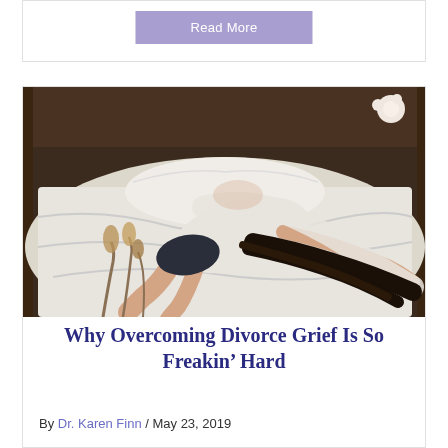Read More
[Figure (photo): Woman lying face-down on a bed with white bedding, hair spread out, dried flowers in the foreground, wooden headboard visible.]
Why Overcoming Divorce Grief Is So Freakin’ Hard
By Dr. Karen Finn / May 23, 2019